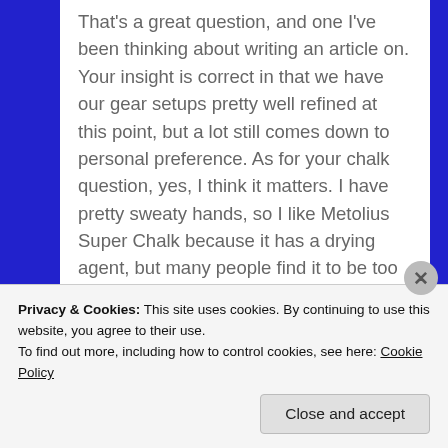That's a great question, and one I've been thinking about writing an article on. Your insight is correct in that we have our gear setups pretty well refined at this point, but a lot still comes down to personal preference. As for your chalk question, yes, I think it matters. I have pretty sweaty hands, so I like Metolius Super Chalk because it has a drying agent, but many people find it to be too dry, and it can lead to cracked skin…so, again, it depends on the person.
-Mike
★ Like
Privacy & Cookies: This site uses cookies. By continuing to use this website, you agree to their use.
To find out more, including how to control cookies, see here: Cookie Policy
Close and accept